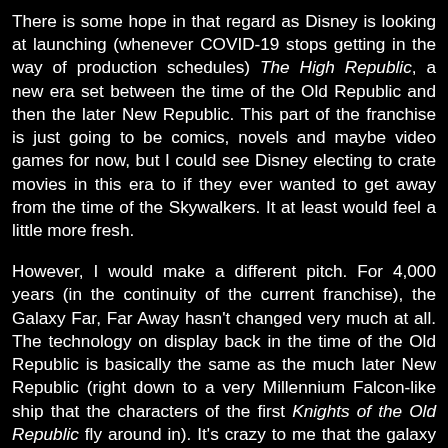There is some hope in that regard as Disney is looking at launching (whenever COVID-19 stops getting in the way of production schedules) The High Republic, a new era set between the time of the Old Republic and then the later New Republic. This part of the franchise is just going to be comics, novels and maybe video games for now, but I could see Disney electing to crate movies in this era to if they ever wanted to get away from the time of the Skywalkers. It at least would feel a little more fresh.
However, I would make a different pitch. For 4,000 years (in the continuity of the current franchise), the Galaxy Far, Far Away hasn't changed very much at all. The technology on display back in the time of the Old Republic is basically the same as the much later New Republic (right down to a very Millennium Falcon-like ship that the characters of the first Knights of the Old Republic fly around in). It's crazy to me that the galaxy has stagnated that much -- consider the fact that since the time of the Industrial Revolution, our world has shifted dramatically, but over four millennia the Star Wars universe remains exactly the same. That makes no sense.
So let's say that the New Republic era was a success and it brings about a new Golden Age for the Galaxy Far, Far Away. Instead of keeping everything the same, let's evolve this